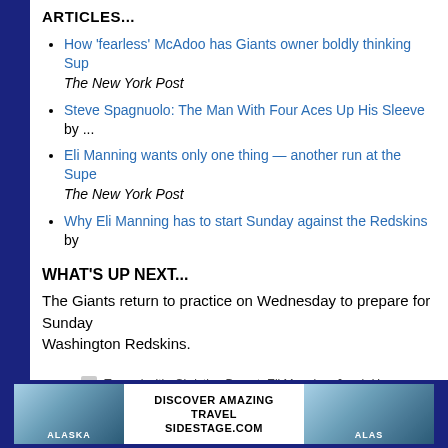ARTICLES...
How 'fearless' McAdoo has Giants owner boldly thinking Sup... — The New York Post
Steve Spagnuolo: The Man With Four Aces Up His Sleeve by ...
Eli Manning wants only one thing — another run at the Supe... — The New York Post
Why Eli Manning has to start Sunday against the Redskins by ...
WHAT'S UP NEXT...
The Giants return to practice on Wednesday to prepare for Sunday... Washington Redskins.
Tagged with: Christian Bryant, Eli Manning, Jacob Hu... Pierre-Paul, Justin Pugh, Keith Wenning, Rashad Jer... Hansbrough, Ryan Murphy, Sterling Shepard, Steve Spa... Tis...
[Figure (infographic): Advertisement banner for Alaska travel with text DISCOVER AMAZING TRAVEL SIDESTAGE.COM]